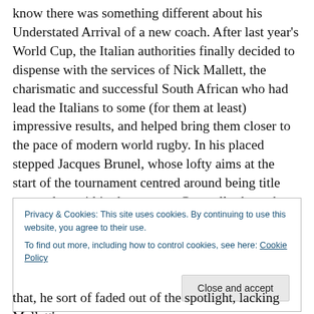know there was something different about his Understated Arrival of a new coach. After last year's World Cup, the Italian authorities finally decided to dispense with the services of Nick Mallett, the charismatic and successful South African who had lead the Italians to some (for them at least) impressive results, and helped bring them closer to the pace of modern world rugby. In his placed stepped Jacques Brunel, whose lofty aims at the start of the tournament centred around being title contenders within three years. Generally throughout a coach's first term in office, he is the subject of much media
Privacy & Cookies: This site uses cookies. By continuing to use this website, you agree to their use.
To find out more, including how to control cookies, see here: Cookie Policy
that, he sort of faded out of the spotlight, lacking Mallett's